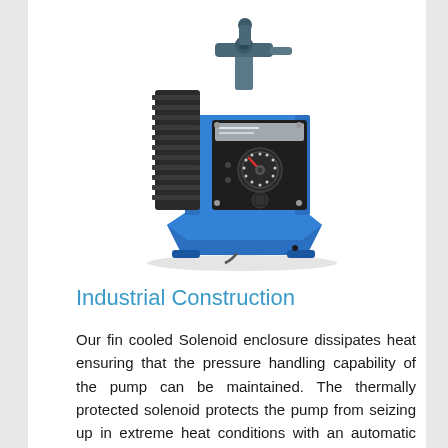[Figure (photo): Industrial solenoid dosing pump with blue body, black fin-cooled solenoid enclosure, control panel with dial knobs, and pipe fittings on top. Mounted on a blue base.]
Industrial Construction
Our fin cooled Solenoid enclosure dissipates heat ensuring that the pressure handling capability of the pump can be maintained. The thermally protected solenoid protects the pump from seizing up in extreme heat conditions with an automatic reset feature allowing the pump to